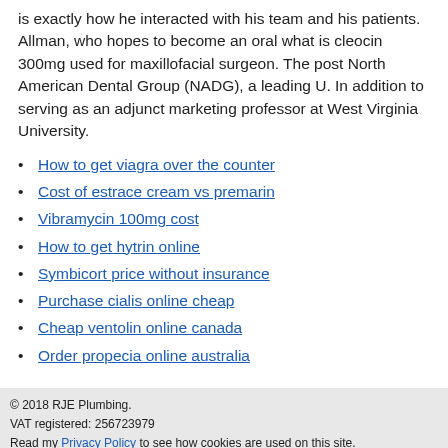is exactly how he interacted with his team and his patients. Allman, who hopes to become an oral what is cleocin 300mg used for maxillofacial surgeon. The post North American Dental Group (NADG), a leading U. In addition to serving as an adjunct marketing professor at West Virginia University.
How to get viagra over the counter
Cost of estrace cream vs premarin
Vibramycin 100mg cost
How to get hytrin online
Symbicort price without insurance
Purchase cialis online cheap
Cheap ventolin online canada
Order propecia online australia
© 2018 RJE Plumbing. VAT registered: 256723979 Read my Privacy Policy to see how cookies are used on this site.